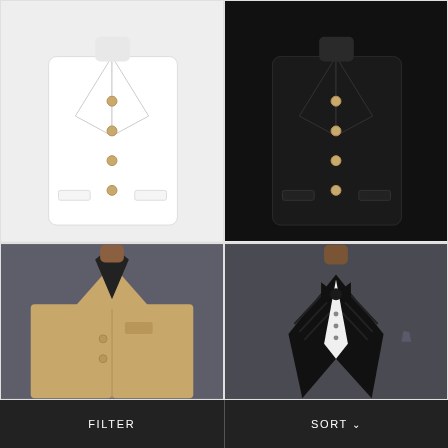[Figure (photo): White band collar jacket with gold buttons and red pocket square on mannequin]
BRIGHT WHITE BAND...
$147 USD
[Figure (photo): Black premium band collar jacket with gold buttons and purple pocket square on mannequin]
JADE BLACK PREMIU...
$147 USD
[Figure (photo): Tan/beige casual blazer on mannequin with black collar]
[Figure (photo): Black tuxedo jacket with textured lapels and bow tie on mannequin]
FILTER
SORT